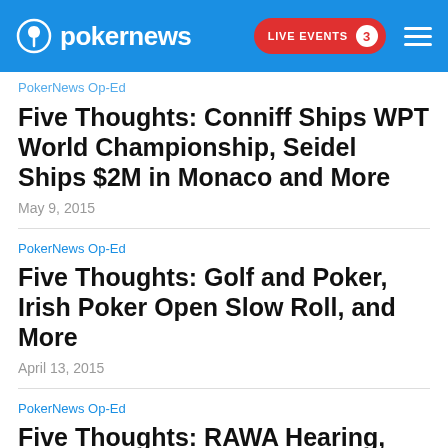pokernews  LIVE EVENTS 3
PokerNews Op-Ed
Five Thoughts: Conniff Ships WPT World Championship, Seidel Ships $2M in Monaco and More
May 9, 2015
PokerNews Op-Ed
Five Thoughts: Golf and Poker, Irish Poker Open Slow Roll, and More
April 13, 2015
PokerNews Op-Ed
Five Thoughts: RAWA Hearing, Global Poker Masters, Urbanovich, and More
April 1, 2015